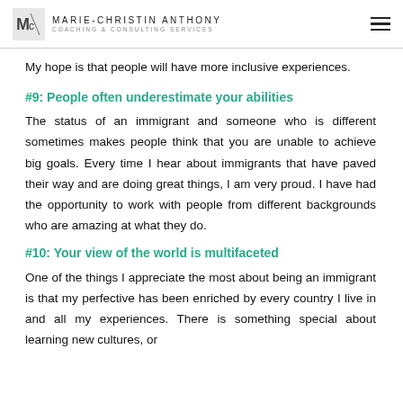MARIE-CHRISTIN ANTHONY COACHING & CONSULTING SERVICES
My hope is that people will have more inclusive experiences.
#9: People often underestimate your abilities
The status of an immigrant and someone who is different sometimes makes people think that you are unable to achieve big goals. Every time I hear about immigrants that have paved their way and are doing great things, I am very proud. I have had the opportunity to work with people from different backgrounds who are amazing at what they do.
#10: Your view of the world is multifaceted
One of the things I appreciate the most about being an immigrant is that my perfective has been enriched by every country I live in and all my experiences. There is something special about learning new cultures, or